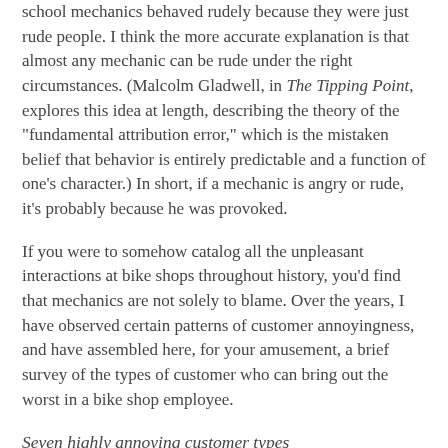school mechanics behaved rudely because they were just rude people. I think the more accurate explanation is that almost any mechanic can be rude under the right circumstances. (Malcolm Gladwell, in The Tipping Point, explores this idea at length, describing the theory of the "fundamental attribution error," which is the mistaken belief that behavior is entirely predictable and a function of one's character.) In short, if a mechanic is angry or rude, it's probably because he was provoked.
If you were to somehow catalog all the unpleasant interactions at bike shops throughout history, you'd find that mechanics are not solely to blame. Over the years, I have observed certain patterns of customer annoyingness, and have assembled here, for your amusement, a brief survey of the types of customer who can bring out the worst in a bike shop employee.
Seven highly annoying customer types
The penniless kid
Perhaps because I was cheated at bike shops as a kid, I